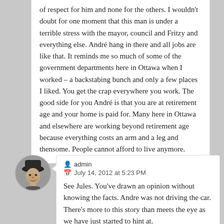of respect for him and none for the others. I wouldn't doubt for one moment that this man is under a terrible stress with the mayor, council and Fritzy and everything else. André hang in there and all jobs are like that. It reminds me so much of some of the government departments here in Ottawa when I worked – a backstabing bunch and only a few places I liked. You get the crap everywhere you work. The good side for you André is that you are at retirement age and your home is paid for. Many here in Ottawa and elsewhere are working beyond retirement age because everything costs an arm and a leg and thensome. People cannot afford to live anymore.
[Figure (photo): Circular avatar photo of a person wearing a hat, grayscale]
admin
July 14, 2012 at 5:23 PM
See Jules. You've drawn an opinion without knowing the facts. Andre was not driving the car. There's more to this story than meets the eye as we have just started to hint at.